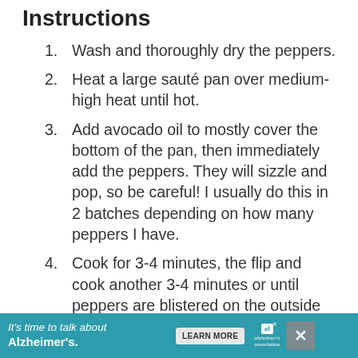Instructions
Wash and thoroughly dry the peppers.
Heat a large sauté pan over medium-high heat until hot.
Add avocado oil to mostly cover the bottom of the pan, then immediately add the peppers. They will sizzle and pop, so be careful! I usually do this in 2 batches depending on how many peppers I have.
Cook for 3-4 minutes, the flip and cook another 3-4 minutes or until peppers are blistered on the outside and softened.
Remove peppers to a bowl and sprinkle with sea salt.
It's time to talk about Alzheimer's. LEARN MORE